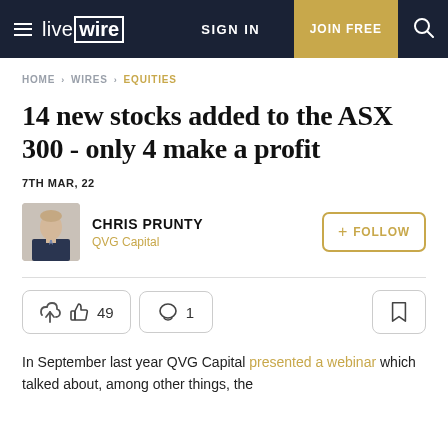live wire | SIGN IN | JOIN FREE
HOME > WIRES > EQUITIES
14 new stocks added to the ASX 300 - only 4 make a profit
7TH MAR, 22
CHRIS PRUNTY
QVG Capital
49 likes | 1 comment
In September last year QVG Capital presented a webinar which talked about, among other things, the